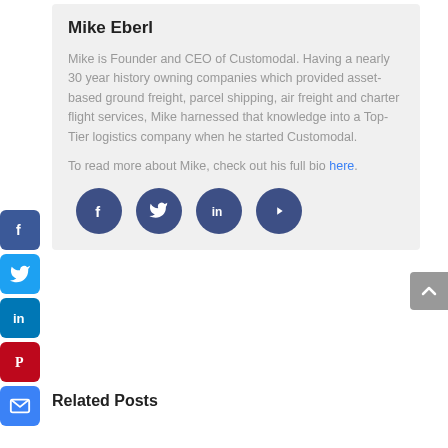Mike Eberl
Mike is Founder and CEO of Customodal. Having a nearly 30 year history owning companies which provided asset-based ground freight, parcel shipping, air freight and charter flight services, Mike harnessed that knowledge into a Top-Tier logistics company when he started Customodal.
To read more about Mike, check out his full bio here.
[Figure (infographic): Row of four dark blue circular social media icons: Facebook (f), Twitter (bird), LinkedIn (in), YouTube (play button)]
[Figure (infographic): Left sidebar with five square social share buttons: Facebook (blue), Twitter (light blue), LinkedIn (blue), Pinterest (red), Email (blue)]
[Figure (infographic): Gray back-to-top button with upward chevron on the right edge]
Related Posts